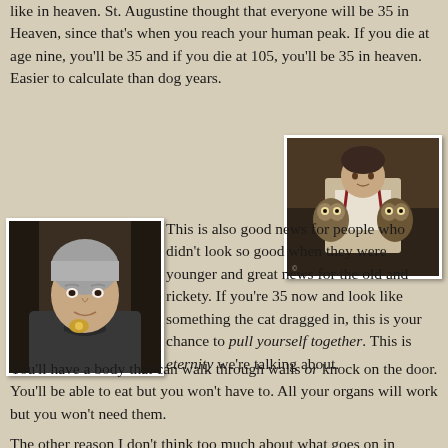like in heaven. St. Augustine thought that everyone will be 35 in Heaven, since that's when you reach your human peak. If you die at age nine, you'll be 35 and if you die at 105, you'll be 35 in heaven. Easier to calculate than dog years.
[Figure (photo): Elderly woman with short grey hair, wearing a dark jacket and brooch, smiling]
[Figure (photo): Young boy in suspenders holding two owls, sitting outdoors]
This is also good news for people who didn't look so good when they were younger and great news for the old and rickety. If you're 35 now and look like something the cat dragged in, this is your chance to pull yourself together. This is eternity we're talking about.
You'll have a body that can walk through walls or knock on the door. You'll be able to eat but you won't have to. All your organs will work but you won't need them.
The other reason I don't think too much about what goes on in heaven or what it will be like if I get there is because I don't understand it at all. I really don't understand how Mary